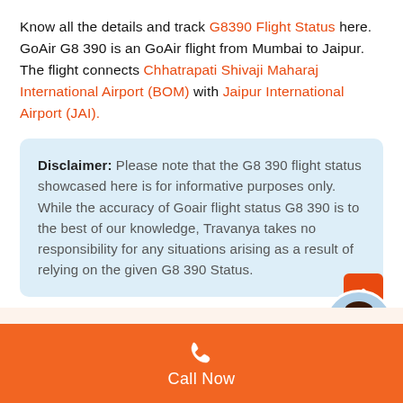Know all the details and track G8390 Flight Status here. GoAir G8 390 is an GoAir flight from Mumbai to Jaipur. The flight connects Chhatrapati Shivaji Maharaj International Airport (BOM) with Jaipur International Airport (JAI).
Disclaimer: Please note that the G8 390 flight status showcased here is for informative purposes only. While the accuracy of Goair flight status G8 390 is to the best of our knowledge, Travanya takes no responsibility for any situations arising as a result of relying on the given G8 390 Status.
Looking to book flights to Jaipur? Travanya is at your service. With us, booking Domestic flights is easier & cheaper than ever. Contact us today!
[Figure (other): Orange scroll-to-top button and customer support avatar with green online indicator dot, followed by orange Call Now footer bar with phone icon.]